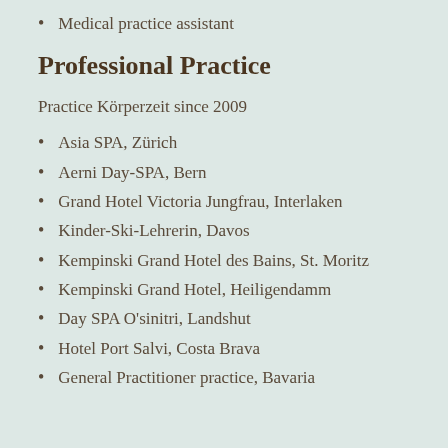Medical practice assistant
Professional Practice
Practice Körperzeit since 2009
Asia SPA, Zürich
Aerni Day-SPA, Bern
Grand Hotel Victoria Jungfrau, Interlaken
Kinder-Ski-Lehrerin, Davos
Kempinski Grand Hotel des Bains, St. Moritz
Kempinski Grand Hotel, Heiligendamm
Day SPA O'sinitri, Landshut
Hotel Port Salvi, Costa Brava
General Practitioner practice, Bavaria